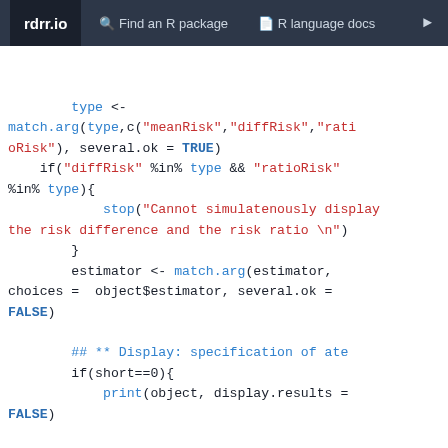rdrr.io   Find an R package   R language docs
[Figure (screenshot): R code snippet showing type matching, risk difference/ratio check, estimator matching, and display specification with if/print/inference logic]